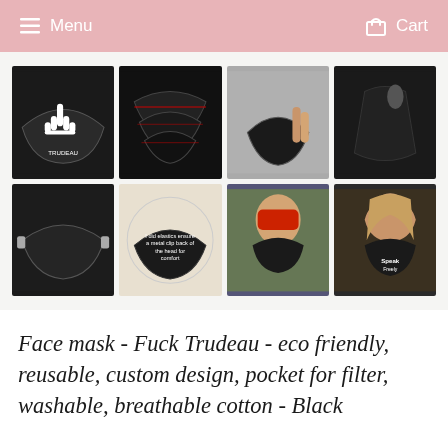Menu  Cart
[Figure (photo): Grid of 8 product photos showing black face masks with various designs including a middle finger 'Trudeau' graphic, size comparison shots, side/back views, elastic straps, a label with instructions, and people wearing the masks outdoors. One mask features 'Speak Freely' text.]
Face mask - Fuck Trudeau - eco friendly, reusable, custom design, pocket for filter, washable, breathable cotton - Black